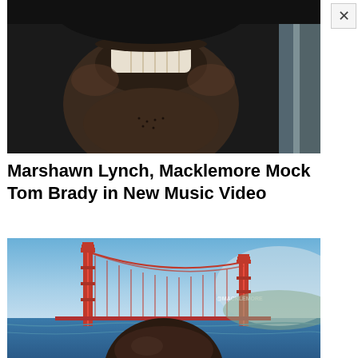[Figure (photo): Close-up of a smiling person with teeth visible, dark blurred background with light vertical element on right side]
Marshawn Lynch, Macklemore Mock Tom Brady in New Music Video
[Figure (photo): Person's head in foreground overlaid on Golden Gate Bridge scene with blue sky and bay waters, watermark text visible]